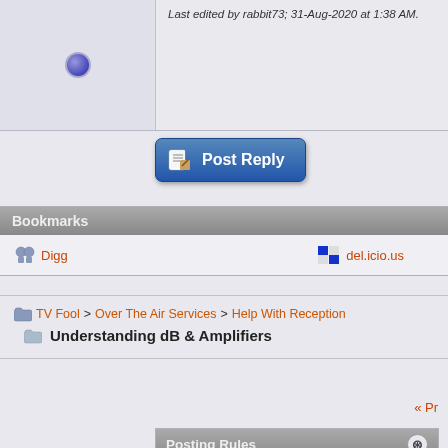Last edited by rabbit73; 31-Aug-2020 at 1:38 AM.
[Figure (screenshot): Post Reply button with document/pencil icon]
Bookmarks
Digg | del.icio.us
TV Fool > Over The Air Services > Help With Reception
Understanding dB & Amplifiers
« Pr
Posting Rules
You may not post new threads
You may not post replies
You may not post attachments
You may not edit your posts
BB code is On
Smilies are On
[IMG] code is On
HTML code is Off
Forum Rules